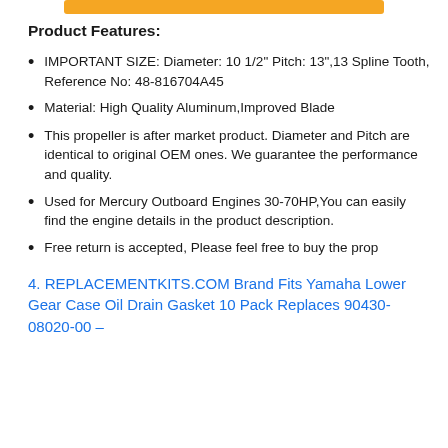Product Features:
IMPORTANT SIZE: Diameter: 10 1/2" Pitch: 13",13 Spline Tooth, Reference No: 48-816704A45
Material: High Quality Aluminum,Improved Blade
This propeller is after market product. Diameter and Pitch are identical to original OEM ones. We guarantee the performance and quality.
Used for Mercury Outboard Engines 30-70HP,You can easily find the engine details in the product description.
Free return is accepted, Please feel free to buy the prop
4. REPLACEMENTKITS.COM Brand Fits Yamaha Lower Gear Case Oil Drain Gasket 10 Pack Replaces 90430-08020-00 –